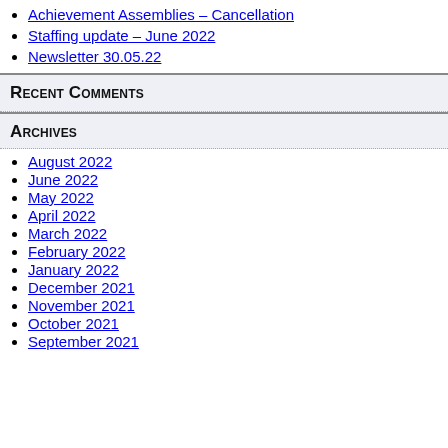Achievement Assemblies – Cancellation
Staffing update – June 2022
Newsletter 30.05.22
Recent Comments
Archives
August 2022
June 2022
May 2022
April 2022
March 2022
February 2022
January 2022
December 2021
November 2021
October 2021
September 2021